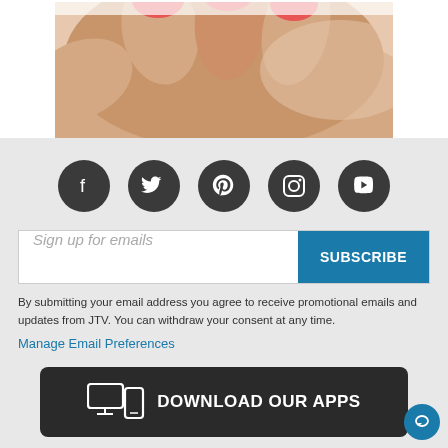[Figure (photo): Close-up photo of a hand with red-painted fingernails, fingers curled/pinching]
[Figure (infographic): Social media icons row: Facebook, Twitter, Pinterest, Instagram, YouTube — white icons on dark circular backgrounds]
Sign up for emails
SUBSCRIBE
By submitting your email address you agree to receive promotional emails and updates from JTV. You can withdraw your consent at any time.
Manage Email Preferences
DOWNLOAD OUR APPS